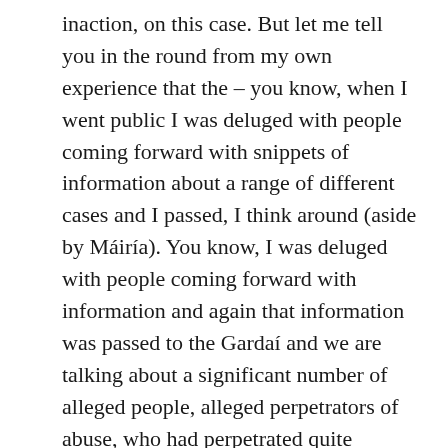inaction, on this case. But let me tell you in the round from my own experience that the – you know, when I went public I was deluged with people coming forward with snippets of information about a range of different cases and I passed, I think around (aside by Máiría). You know, I was deluged with people coming forward with information and again that information was passed to the Gardaí and we are talking about a significant number of alleged people, alleged perpetrators of abuse, who had perpetrated quite heinous actions on children and the thread that linked all of those cases, or the majority of them anyway, was that they did them as Republicans who felt that they could get away with those acts because